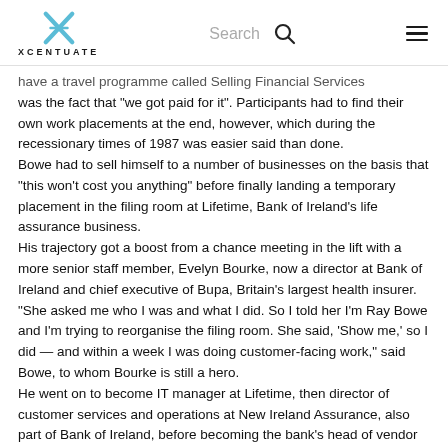XCENTUATE | Search
...have a travel programme called Selling Financial Services was the fact that "we got paid for it". Participants had to find their own work placements at the end, however, which during the recessionary times of 1987 was easier said than done.
Bowe had to sell himself to a number of businesses on the basis that "this won't cost you anything" before finally landing a temporary placement in the filing room at Lifetime, Bank of Ireland's life assurance business.
His trajectory got a boost from a chance meeting in the lift with a more senior staff member, Evelyn Bourke, now a director at Bank of Ireland and chief executive of Bupa, Britain's largest health insurer.
"She asked me who I was and what I did. So I told her I'm Ray Bowe and I'm trying to reorganise the filing room. She said, 'Show me,' so I did — and within a week I was doing customer-facing work," said Bowe, to whom Bourke is still a hero.
He went on to become IT manager at Lifetime, then director of customer services and operations at New Ireland Assurance, also part of Bank of Ireland, before becoming the bank's head of vendor management. In all he spent 28 years with the group before leaving, in 2017, to set up Xcentuate.
A redundancy package helped but the loss of his monthly pay cheque did not faze him. "I'm not a worrier, I'm a risk assessor. I had also known from when I was in...